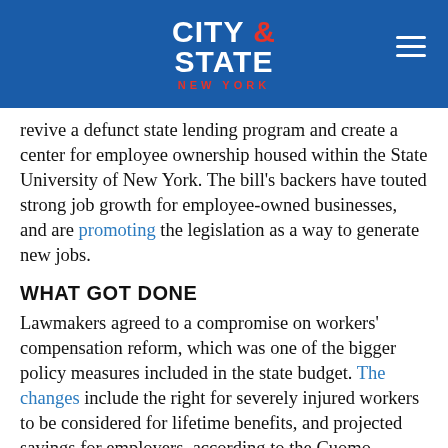CITY & STATE NEW YORK
revive a defunct state lending program and create a center for employee ownership housed within the State University of New York. The bill's backers have touted strong job growth for employee-owned businesses, and are promoting the legislation as a way to generate new jobs.
WHAT GOT DONE
Lawmakers agreed to a compromise on workers' compensation reform, which was one of the bigger policy measures included in the state budget. The changes include the right for severely injured workers to be considered for lifetime benefits, and projected savings for employers, according to the Cuomo administration. The state budget also included a 6.5 percent raise over the next two years for direct care